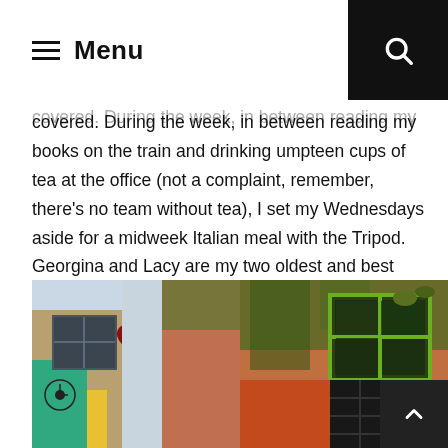Menu
covered. During the week, in between reading my books on the train and drinking umpteen cups of tea at the office (not a complaint, remember, there's no team without tea), I set my Wednesdays aside for a midweek Italian meal with the Tripod. Georgina and Lacy are my two oldest and best friends, and even though all three of us have taken very different vocational paths in life, (animals, hospitals, banks), it has made our friendship all the more interesting.
[Figure (photo): Two urban/street photographs side by side showing building facades with colourful painted walls, ivy/plant growth, windows with green frames, and red-leafed plant branches against a sky background.]